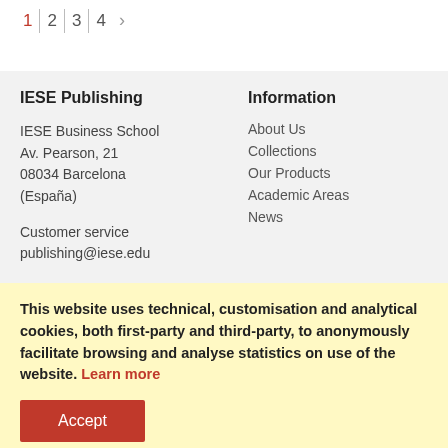1 | 2 | 3 | 4 >
IESE Publishing
IESE Business School
Av. Pearson, 21
08034 Barcelona
(España)

Customer service
publishing@iese.edu
Information
About Us
Collections
Our Products
Academic Areas
News
This website uses technical, customisation and analytical cookies, both first-party and third-party, to anonymously facilitate browsing and analyse statistics on use of the website. Learn more
Accept